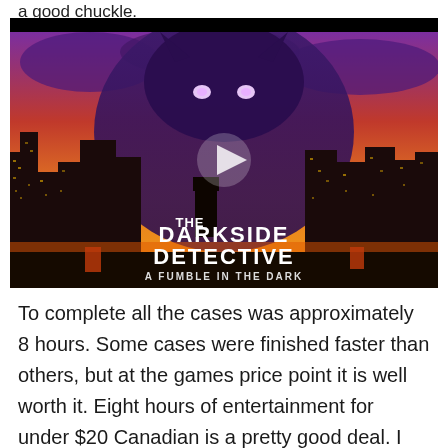a good chuckle.
[Figure (screenshot): Video thumbnail for 'The Darkside Detective: A Fumble in the Dark' showing a pixel-art style game scene with a dark monster silhouette with glowing eyes looming over a city skyline at sunset, with a play button overlay in the center.]
To complete all the cases was approximately 8 hours. Some cases were finished faster than others, but at the games price point it is well worth it. Eight hours of entertainment for under $20 Canadian is a pretty good deal. I am